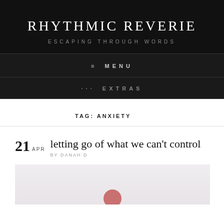RHYTHMIC REVERIE
ESCAPING THROUGH WORDS
≡ MENU
··· EXTRAS
TAG: ANXIETY
21
APR
letting go of what we can't control
BY DANAH D
[Figure (photo): Partial view of a post thumbnail image with light pinkish-gray background and a small reddish-pink circular element at the bottom center]